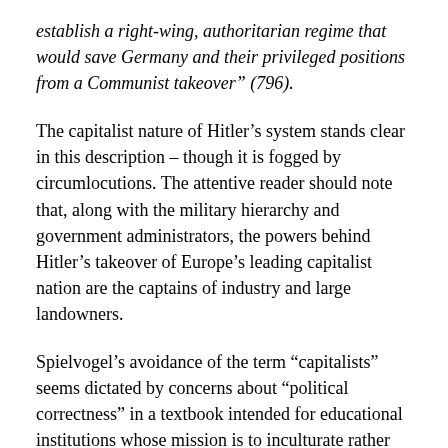establish a right-wing, authoritarian regime that would save Germany and their privileged positions from a Communist takeover” (796).
The capitalist nature of Hitler’s system stands clear in this description – though it is fogged by circumlocutions. The attentive reader should note that, along with the military hierarchy and government administrators, the powers behind Hitler’s takeover of Europe’s leading capitalist nation are the captains of industry and large landowners.
Spielvogel’s avoidance of the term “capitalists” seems dictated by concerns about “political correctness” in a textbook intended for educational institutions whose mission is to inculturate rather than to raise consciousness. Once again, such avoidance contributes to general misconceptions